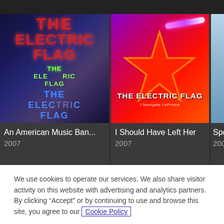[Figure (screenshot): Screenshot of a music streaming website showing album covers for The Electric Flag. Three album cards visible: 'An American Music Ban...' (2007), 'I Should Have Left Her' (2007), and a partially visible third. A cookie consent banner overlays the bottom portion with text and two buttons.]
An American Music Ban...
2007
I Should Have Left Her
2007
Spo
200
We use cookies to operate our services. We also share visitor activity on this website with advertising and analytics partners. By clicking “Accept” or by continuing to use and browse this site, you agree to our Cookie Policy
Cookie Settings
Accept Cookies